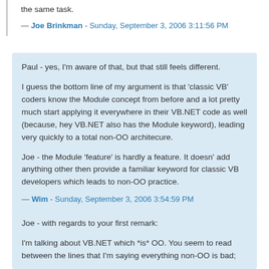the same task.
— Joe Brinkman - Sunday, September 3, 2006 3:11:56 PM
Paul - yes, I'm aware of that, but that still feels different.

I guess the bottom line of my argument is that 'classic VB' coders know the Module concept from before and a lot pretty much start applying it everywhere in their VB.NET code as well (because, hey VB.NET also has the Module keyword), leading very quickly to a total non-OO architecure.

Joe - the Module 'feature' is hardly a feature. It doesn' add anything other then provide a familiar keyword for classic VB developers which leads to non-OO practice.
— Wim - Sunday, September 3, 2006 3:54:59 PM
Joe - with regards to your first remark:

I'm talking about VB.NET which *is* OO. You seem to read between the lines that I'm saying everything non-OO is bad;